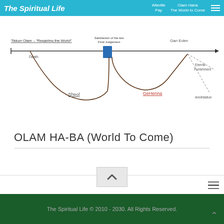The Spiritual Life | Afterlife Pay | Olam Haba The World to Come
[Figure (schematic): Diagram showing Jewish afterlife concepts: a horizontal timeline arrow labeled 'Tikkun Olam - Repairing the World', with a vertical blue bar at 'Satisfaction of the last Final Judgement', branching to 'Gan Eden' (top right) and 'Gehenna' (bottom right, in red), which further splits into 'Eternal Punishment' and 'Annihilation' via dashed lines. 'Sheol' is labeled in the dip below the timeline, and 'Death' is labeled at the start of the dip.]
OLAM HA-BA (World To Come)
The Spiritual Life © 2010 - 2030. All Rights Reserved.